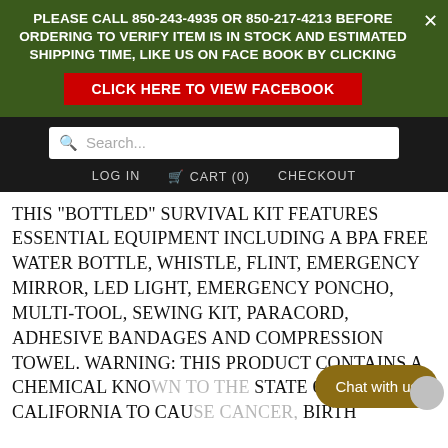PLEASE CALL 850-243-4935 OR 850-217-4213 BEFORE ORDERING TO VERIFY ITEM IS IN STOCK AND ESTIMATED SHIPPING TIME, LIKE US ON FACE BOOK BY CLICKING
CLICK HERE TO VIEW FACEBOOK
LOG IN   CART (0)   CHECKOUT
THIS "BOTTLED" SURVIVAL KIT FEATURES ESSENTIAL EQUIPMENT INCLUDING A BPA FREE WATER BOTTLE, WHISTLE, FLINT, EMERGENCY MIRROR, LED LIGHT, EMERGENCY PONCHO, MULTI-TOOL, SEWING KIT, PARACORD, ADHESIVE BANDAGES AND COMPRESSION TOWEL. WARNING: THIS PRODUCT CONTAINS A CHEMICAL KNOWN TO THE STATE OF CALIFORNIA TO CAUSE CANCER, BIRTH DEFECTS AND OTHER